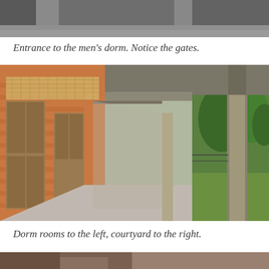[Figure (photo): Partial view of a building entrance with concrete ceiling and pillars, cropped at top of page]
Entrance to the men's dorm. Notice the gates.
[Figure (photo): A long covered corridor of a dormitory building showing brick-walled rooms with wooden doors on the left and open courtyard with green trees visible on the right, with a concrete pathway running through the middle]
Dorm rooms to the left, courtyard to the right.
[Figure (photo): Bottom portion of another dormitory photo, partially cropped]